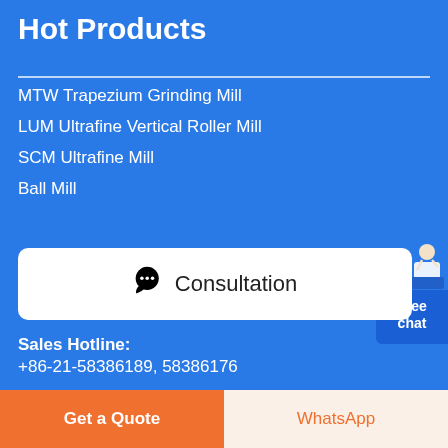Hot Products
MTW Trapezium Grinding Mill
LUM Ultrafine Vertical Roller Mill
SCM Ultrafine Mill
Ball Mill
Consultation
Sales Hotline:
+86-21-58386189, 58386176
Copyright © 2021 SMG Industry & Technology Group Co.
Get a Quote
WhatsApp